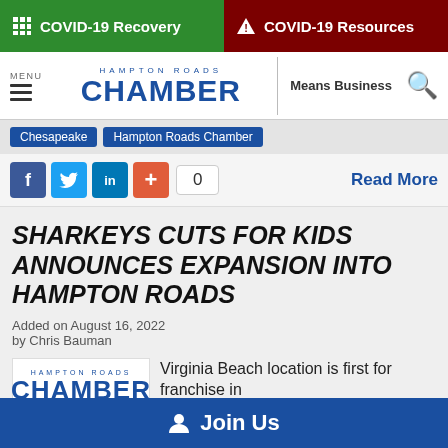COVID-19 Recovery | COVID-19 Resources
[Figure (screenshot): Hampton Roads Chamber navigation bar with menu, logo, Means Business tagline and search icon]
Chesapeake | Hampton Roads Chamber
Facebook share, Twitter share, LinkedIn share, + button, 0 shares. Read More
SHARKEYS CUTS FOR KIDS ANNOUNCES EXPANSION INTO HAMPTON ROADS
Added on August 16, 2022
by Chris Bauman
Virginia Beach location is first for franchise in
Join Us